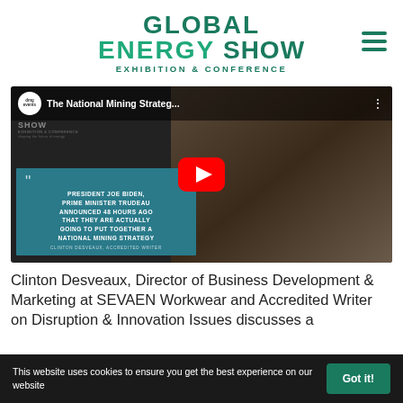[Figure (logo): Global Energy Show - Exhibition & Conference logo in teal/green colors with hamburger menu icon]
[Figure (screenshot): YouTube video thumbnail showing 'The National Mining Strateg...' with a man wearing a black cap, a quote card reading 'PRESIDENT JOE BIDEN, PRIME MINISTER TRUDEAU ANNOUNCED 48 HOURS AGO THAT THEY ARE ACTUALLY GOING TO PUT TOGETHER A NATIONAL MINING STRATEGY' attributed to CLINTON DESVEAUX, ACCREDITED WRITER, with YouTube play button overlay]
Clinton Desveaux, Director of Business Development & Marketing at SEVAEN Workwear and Accredited Writer on Disruption & Innovation Issues discusses a
This website uses cookies to ensure you get the best experience on our website